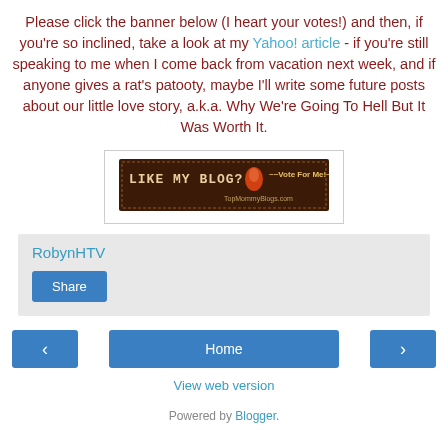Please click the banner below (I heart your votes!) and then, if you're so inclined, take a look at my Yahoo! article - if you're still speaking to me when I come back from vacation next week, and if anyone gives a rat's patooty, maybe I'll write some future posts about our little love story, a.k.a. Why We're Going To Hell But It Was Worth It.
[Figure (other): Banner image: dark brown background with text 'LIKE MY BLOG?' and a chili pepper icon and '~~Vote For Me!~~' text and 'TopMommyBlogs.com' URL]
RobynHTV
Share
< (previous) | Home | > (next)
View web version
Powered by Blogger.